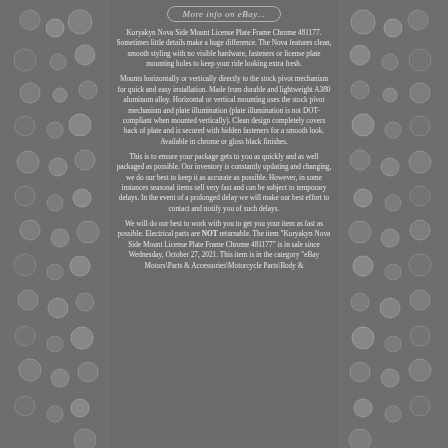[Figure (other): Decorative bubble/droplet pattern on left and right borders of the page, gray background with circular bubble shapes]
More info on eBay...
Kuryakyn Nova Side Mount License Plate Frame Chrome 481177. Sometimes little details make a huge difference. The Nova features clean, smooth styling with no visible hardware, fasteners or license plate mounting holes to keep your ride looking extra fresh.
Mounts horizontally or vertically directly to the stock pivot mechanism for quick and easy installation. Made from durable and lightweight A380 aluminum alloy. Horizontal or vertical mounting uses the stock pivot mechanism and plate illumination (plate illumination is not DOT-compliant when mounted vertically). Clean design completely covers back of plate and is secured with hidden fasteners for a smooth look. Available in chrome or gloss black finishes.
This is to ensure your package gets to you as quickly and as well packaged as possible. Our inventory is constantly updating and changing, we do our best to keep it as accurate as possible. However, in some instances seasonal items sell very fast and can be subject to temporary delays. In the event of a prolonged delay we will make our best effort to contact and notify you of such delays.
We will do our best to work with you to get you your item as fast as possible. Electrical parts are NOT returnable. The item "Kuryakyn Nova Side Mount License Plate Frame Chrome 481177" is in sale since Wednesday, October 27, 2021. This item is in the category "eBay Motors\Parts & Accessories\Motorcycle Parts\Body &